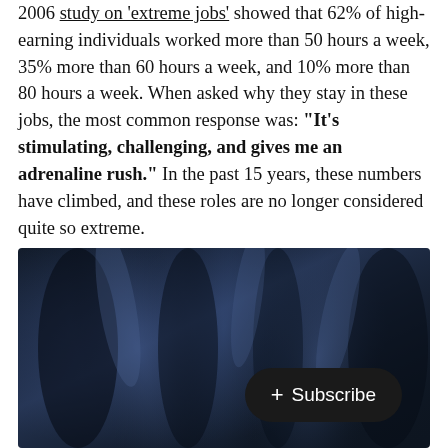2006 study on 'extreme jobs' showed that 62% of high-earning individuals worked more than 50 hours a week, 35% more than 60 hours a week, and 10% more than 80 hours a week. When asked why they stay in these jobs, the most common response was: "It's stimulating, challenging, and gives me an adrenaline rush." In the past 15 years, these numbers have climbed, and these roles are no longer considered quite so extreme.
[Figure (photo): Dark navy blue fabric or curtain with soft folds and dramatic lighting, creating a moody, abstract background image.]